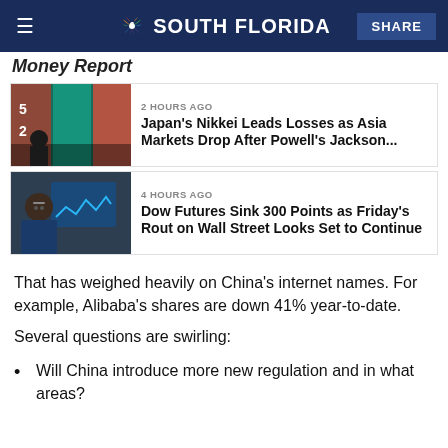NBC 6 South Florida | SHARE
Money Report
[Figure (photo): Stock market display board with red numbers, person in foreground]
2 HOURS AGO
Japan's Nikkei Leads Losses as Asia Markets Drop After Powell's Jackson...
[Figure (photo): Trader on Wall Street floor looking at screens]
4 HOURS AGO
Dow Futures Sink 300 Points as Friday's Rout on Wall Street Looks Set to Continue
That has weighed heavily on China's internet names. For example, Alibaba's shares are down 41% year-to-date.
Several questions are swirling:
Will China introduce more new regulation and in what areas?